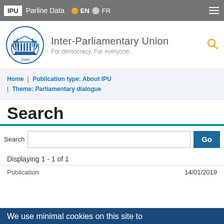IPU  Parline Data  EN  FR
[Figure (logo): Inter-Parliamentary Union logo with blue laurel wreath, parliament building icon, and year 1889]
Inter-Parliamentary Union
For democracy. For everyone.
Home | Publication type: About IPU | Theme: Parliamentary dialogue
Search
Search  Go
Displaying 1 - 1 of 1
Publication  14/01/2019
We use minimal cookies on this site to